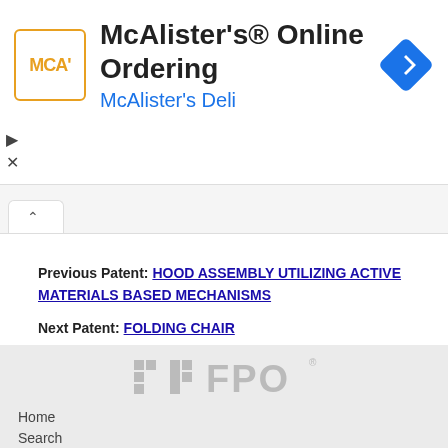[Figure (screenshot): McAlister's Online Ordering advertisement banner with MCA logo, navigation diamond icon, and McAlister's Deli subtitle]
Previous Patent: HOOD ASSEMBLY UTILIZING ACTIVE MATERIALS BASED MECHANISMS
Next Patent: FOLDING CHAIR
[Figure (logo): FPO watermark logo in light gray on gray background footer area]
Home
Search